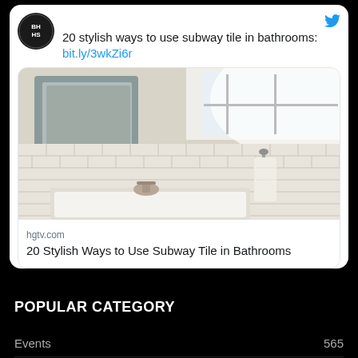20 stylish ways to use subway tile in bathrooms: bit.ly/3wkZi6r
[Figure (photo): A bathroom with white subway tile walls, a bathtub with chrome faucet, a towel hanging on a bar, and a window above letting in bright light. A mirror with rounded edges is visible on the left.]
hgtv.com
20 Stylish Ways to Use Subway Tile in Bathrooms
POPULAR CATEGORY
Events  565
Market Trends  194